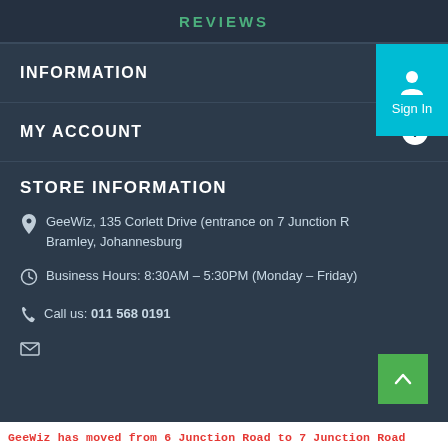REVIEWS
INFORMATION
MY ACCOUNT
STORE INFORMATION
GeeWiz, 135 Corlett Drive (entrance on 7 Junction R... Bramley, Johannesburg
Business Hours: 8:30AM – 5:30PM (Monday – Friday)
Call us: 011 568 0191
GeeWiz has moved from 6 Junction Road to 7 Junction Road